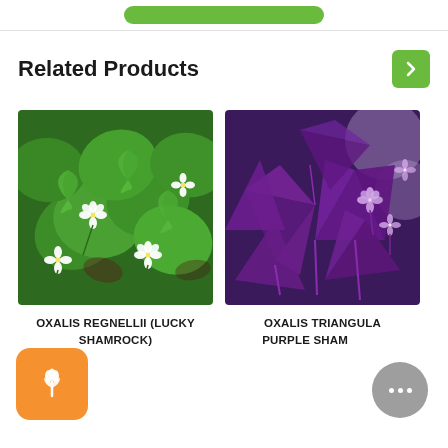Related Products
[Figure (photo): Photo of Oxalis regnellii (Lucky Shamrock) plant with green clover-like leaves and white flowers]
OXALIS REGNELLII (LUCKY SHAMROCK)
[Figure (photo): Photo of Oxalis triangularis (Purple Shamrock) plant with deep purple triangular leaves and light purple flowers]
OXALIS TRIANGULARIS PURPLE SHAMROCK